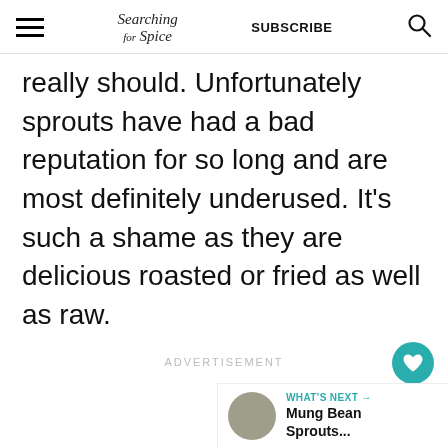Searching for Spice | SUBSCRIBE
really should. Unfortunately sprouts have had a bad reputation for so long and are most definitely underused. It's such a shame as they are delicious roasted or fried as well as raw.
ADVERTISEMENT
WHAT'S NEXT → Mung Bean Sprouts...